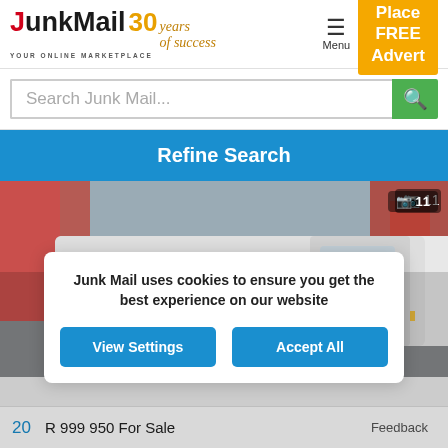[Figure (screenshot): JunkMail 30 Years logo — Junk in black, Mail in black, 30 in gold, 'years of success' in italic gold, 'YOUR ONLINE MARKETPLACE' subtitle in dark small caps]
Place FREE Advert
Search Junk Mail...
Refine Search
[Figure (photo): White minibus/bus photographed from the side, parked in what appears to be a parking area. Photo counter badge shows camera icon and 11.]
Junk Mail uses cookies to ensure you get the best experience on our website
View Settings
Accept All
20
R 999 950 For Sale
Feedback